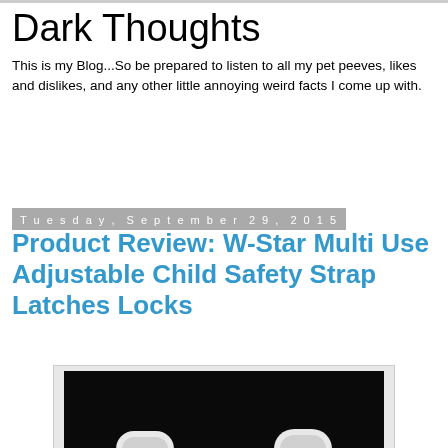Dark Thoughts
This is my Blog...So be prepared to listen to all my pet peeves, likes and dislikes, and any other little annoying weird facts I come up with.
Tuesday, September 29, 2015
Product Review: W-Star Multi Use Adjustable Child Safety Strap Latches Locks
[Figure (photo): Photo of W-Star child safety strap latches with 3M adhesive pads on a black background]